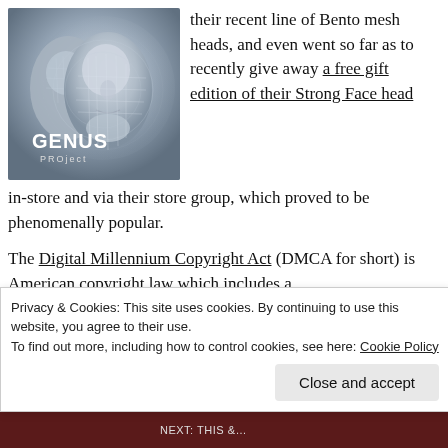[Figure (photo): Genus Project logo image showing two stylized 3D mesh faces side by side on a blue-grey background with the text GENUS PROject]
their recent line of Bento mesh heads, and even went so far as to recently give away a free gift edition of their Strong Face head in-store and via their store group, which proved to be phenomenally popular.
The Digital Millennium Copyright Act (DMCA for short) is American copyright law which includes a
Privacy & Cookies: This site uses cookies. By continuing to use this website, you agree to their use.
To find out more, including how to control cookies, see here: Cookie Policy
Close and accept